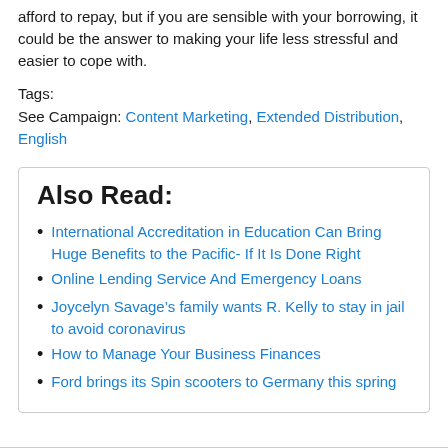afford to repay, but if you are sensible with your borrowing, it could be the answer to making your life less stressful and easier to cope with.
Tags:
See Campaign: Content Marketing, Extended Distribution, English
Also Read:
International Accreditation in Education Can Bring Huge Benefits to the Pacific- If It Is Done Right
Online Lending Service And Emergency Loans
Joycelyn Savage’s family wants R. Kelly to stay in jail to avoid coronavirus
How to Manage Your Business Finances
Ford brings its Spin scooters to Germany this spring